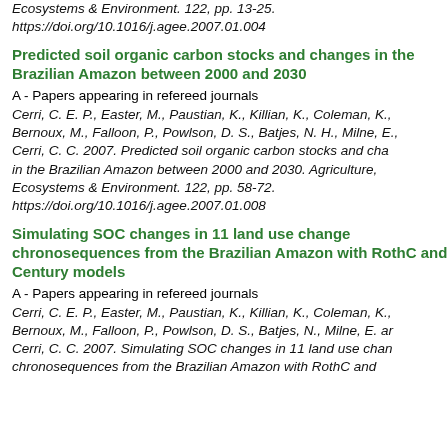Ecosystems & Environment. 122, pp. 13-25. https://doi.org/10.1016/j.agee.2007.01.004
Predicted soil organic carbon stocks and changes in the Brazilian Amazon between 2000 and 2030
A - Papers appearing in refereed journals
Cerri, C. E. P., Easter, M., Paustian, K., Killian, K., Coleman, K., Bernoux, M., Falloon, P., Powlson, D. S., Batjes, N. H., Milne, E., Cerri, C. C. 2007. Predicted soil organic carbon stocks and changes in the Brazilian Amazon between 2000 and 2030. Agriculture, Ecosystems & Environment. 122, pp. 58-72. https://doi.org/10.1016/j.agee.2007.01.008
Simulating SOC changes in 11 land use change chronosequences from the Brazilian Amazon with RothC and Century models
A - Papers appearing in refereed journals
Cerri, C. E. P., Easter, M., Paustian, K., Killian, K., Coleman, K., Bernoux, M., Falloon, P., Powlson, D. S., Batjes, N., Milne, E. and Cerri, C. C. 2007. Simulating SOC changes in 11 land use change chronosequences from the Brazilian Amazon with RothC and